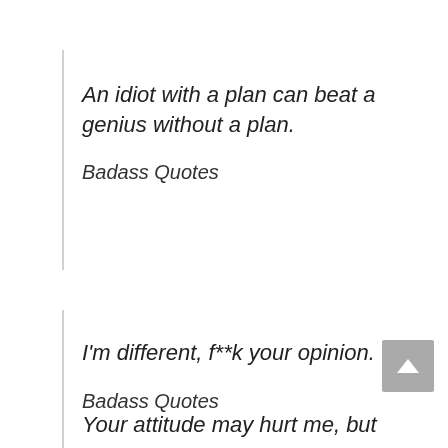An idiot with a plan can beat a genius without a plan.
Badass Quotes
I'm different, f**k your opinion.
Badass Quotes
Your attitude may hurt me, but